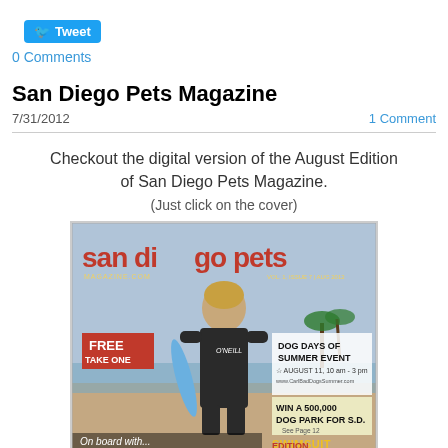[Figure (illustration): Twitter Tweet button (blue pill-shaped button with bird icon and 'Tweet' text)]
0 Comments
San Diego Pets Magazine
7/31/2012
1 Comment
Checkout the digital version of the August Edition of San Diego Pets Magazine.
(Just click on the cover)
[Figure (photo): Cover of San Diego Pets Magazine August 2012 issue, showing a person in a wetsuit holding a surfboard on a beach, with text 'san diego pets', 'FREE TAKE ONE', 'DOG DAYS OF SUMMER EVENT AUGUST 11, 10 am - 3 pm', 'WIN A 500,000 DOG PARK FOR S.D.', 'SWIMSUIT EDITION', 'On board with...' at bottom]